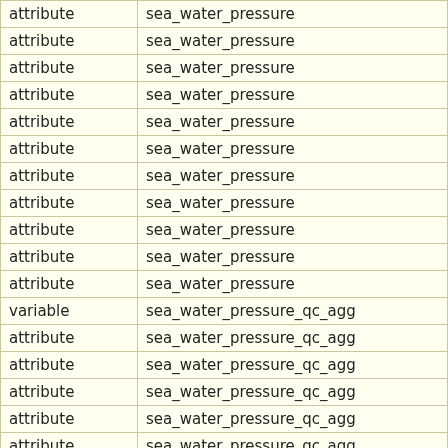| attribute | sea_water_pressure |
| attribute | sea_water_pressure |
| attribute | sea_water_pressure |
| attribute | sea_water_pressure |
| attribute | sea_water_pressure |
| attribute | sea_water_pressure |
| attribute | sea_water_pressure |
| attribute | sea_water_pressure |
| attribute | sea_water_pressure |
| attribute | sea_water_pressure |
| attribute | sea_water_pressure |
| variable | sea_water_pressure_qc_agg |
| attribute | sea_water_pressure_qc_agg |
| attribute | sea_water_pressure_qc_agg |
| attribute | sea_water_pressure_qc_agg |
| attribute | sea_water_pressure_qc_agg |
| attribute | sea_water_pressure_qc_agg |
| attribute | sea_water_pressure_qc_agg |
| attribute | sea_water_pressure_qc_agg |
| attribute | sea_water_pressure_qc_agg |